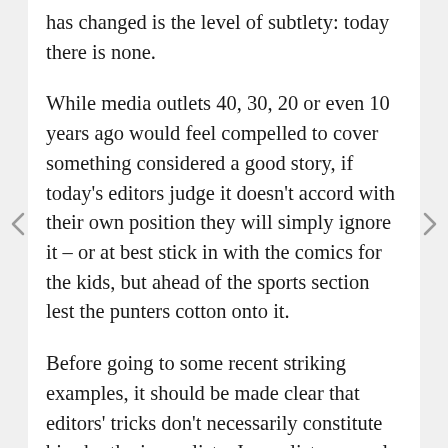has changed is the level of subtlety: today there is none.
While media outlets 40, 30, 20 or even 10 years ago would feel compelled to cover something considered a good story, if today's editors judge it doesn't accord with their own position they will simply ignore it – or at best stick in with the comics for the kids, but ahead of the sports section lest the punters cotton onto it.
Before going to some recent striking examples, it should be made clear that editors' tricks don't necessarily constitute bias by the journalists. Journalists can only file or record stories; whether and where they are aired depends on the hierarchy ruling them. But nor would it be correct to say that all journalists